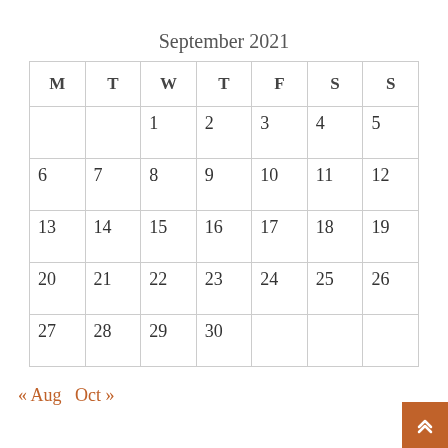September 2021
| M | T | W | T | F | S | S |
| --- | --- | --- | --- | --- | --- | --- |
|  |  | 1 | 2 | 3 | 4 | 5 |
| 6 | 7 | 8 | 9 | 10 | 11 | 12 |
| 13 | 14 | 15 | 16 | 17 | 18 | 19 |
| 20 | 21 | 22 | 23 | 24 | 25 | 26 |
| 27 | 28 | 29 | 30 |  |  |  |
« Aug   Oct »